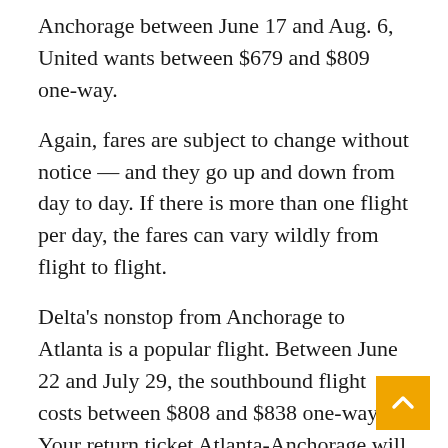Anchorage between June 17 and Aug. 6, United wants between $679 and $809 one-way.
Again, fares are subject to change without notice — and they go up and down from day to day. If there is more than one flight per day, the fares can vary wildly from flight to flight.
Delta's nonstop from Anchorage to Atlanta is a popular flight. Between June 22 and July 29, the southbound flight costs between $808 and $838 one-way. Your return ticket Atlanta-Anchorage will cost $920 one-way.
United's nonstop from Anchorage to Newark is the quickest way to the East Coast. You could leave today on the nonstop for $290 one-way. But it up to as high as $925 one-way on June 17 or June